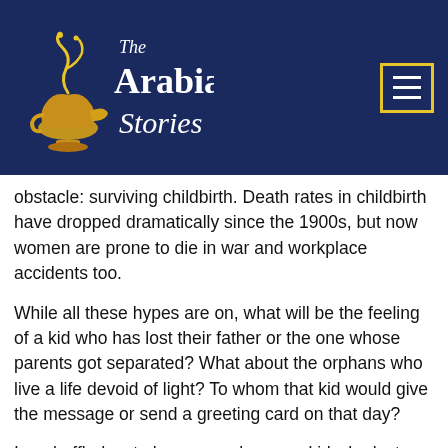[Figure (logo): The Arabian Stories logo with a golden lamp illustration on a dark navy blue header background]
obstacle: surviving childbirth. Death rates in childbirth have dropped dramatically since the 1900s, but now women are prone to die in war and workplace accidents too.
While all these hypes are on, what will be the feeling of a kid who has lost their father or the one whose parents got separated? What about the orphans who live a life devoid of light? To whom that kid would give the message or send a greeting card on that day?
I am baffled as to how an orphan or a kid who lost their father would be feeling on this day, and how a kid could cope with the hype of Mother's Day when their mother is no longer there? Is there a day for the orphaned kids? There are thousands of orphaned kids who have no idea